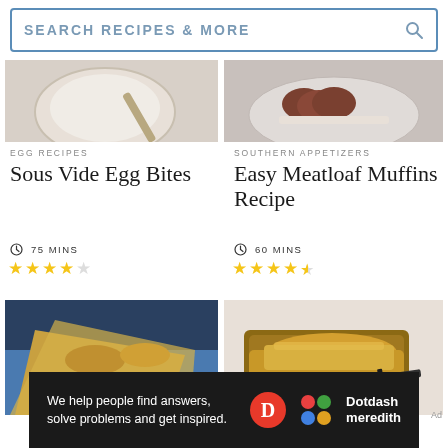SEARCH RECIPES & MORE
[Figure (photo): Top-down view of a white bowl with a spoon — egg recipe photo]
EGG RECIPES
Sous Vide Egg Bites
75 MINS
★★★★☆ (4 stars out of 5)
[Figure (photo): Plate of meatloaf muffins with tomato glaze — southern appetizers photo]
SOUTHERN APPETIZERS
Easy Meatloaf Muffins Recipe
60 MINS
★★★★½ (4.5 stars out of 5)
[Figure (photo): Hands pulling apart a thin egg crepe over a blue plate]
[Figure (photo): Cheesy stuffed bread on a wooden cutting board with a knife]
Ad
We help people find answers, solve problems and get inspired.
[Figure (logo): Dotdash Meredith logo with red D circle and colorful dots logo]